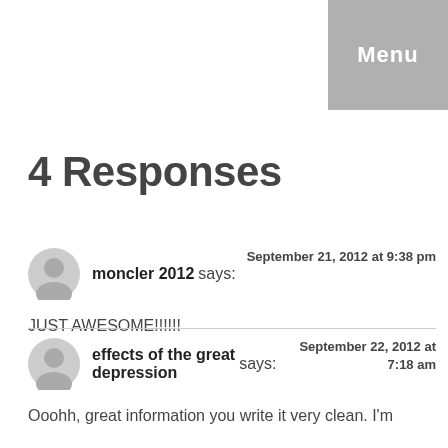Menu
4 Responses
moncler 2012 says: September 21, 2012 at 9:38 pm
JUST AWESOME!!!!!!
effects of the great depression says: September 22, 2012 at 7:18 am
Ooohh, great information you write it very clean. I'm